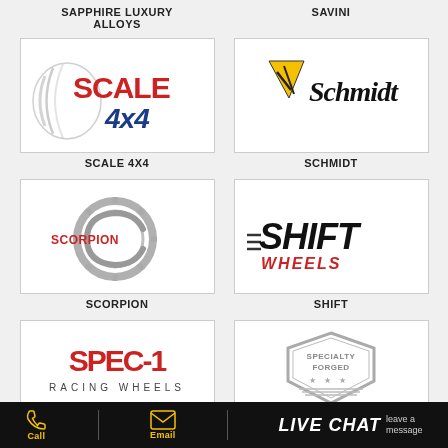SAPPHIRE LUXURY ALLOYS
SAVINI
[Figure (logo): Scale 4x4 logo with red and blue text and tire tread graphic]
SCALE 4X4
[Figure (logo): Schmidt logo with yellow lightning bolt and script text]
SCHMIDT
[Figure (logo): Scorpion logo with circular gear/claw graphic in silver and red text]
SCORPION
[Figure (logo): Shift Wheels logo with bold italic black and red text]
SHIFT
[Figure (logo): Spec-1 Racing Wheels logo in red text]
[Figure (logo): Specialty Forged shield badge logo in gray]
Call  Email  LIVE CHAT leave a message